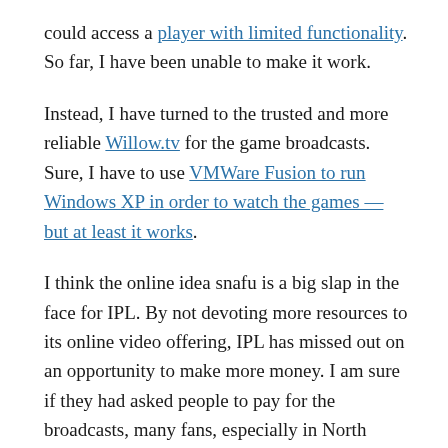could access a player with limited functionality. So far, I have been unable to make it work.
Instead, I have turned to the trusted and more reliable Willow.tv for the game broadcasts. Sure, I have to use VMWare Fusion to run Windows XP in order to watch the games — but at least it works.
I think the online idea snafu is a big slap in the face for IPL. By not devoting more resources to its online video offering, IPL has missed out on an opportunity to make more money. I am sure if they had asked people to pay for the broadcasts, many fans, especially in North America could have forked over cash. Maybe they should visit the MLB.com offices in New York and get a first-hand lesson in making money from online video.